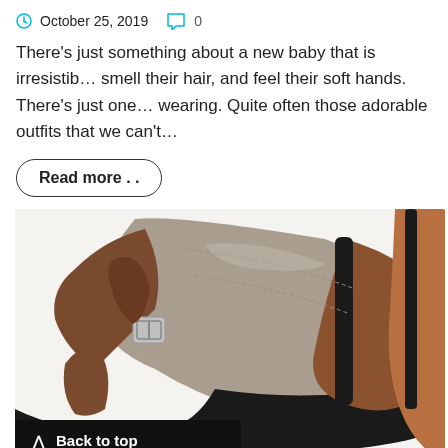October 25, 2019   0
There's just something about a new baby that is irresistib… smell their hair, and feel their soft hands. There's just one… wearing. Quite often those adorable outfits that we can't…
Read more . .
[Figure (photo): Close-up photo of a shoe or sandal with brown leather strap, silver buckle, and taupe/grey suede upper on a white background. A second brown shoe is partially visible on the right.]
Back to top